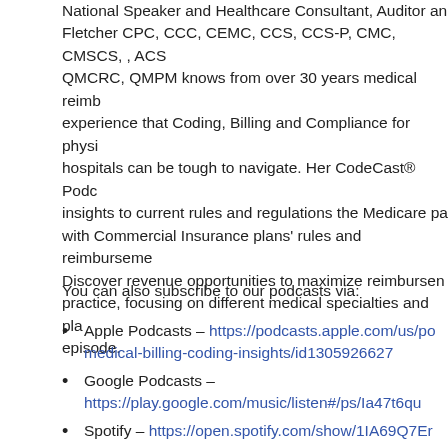National Speaker and Healthcare Consultant, Auditor and Fletcher CPC, CCC, CEMC, CCS, CCS-P, CMC, CMSCS, , ACS QMCRC, QMPM knows from over 30 years medical reimbursement experience that Coding, Billing and Compliance for physicians and hospitals can be tough to navigate. Her CodeCast® Podcast provides insights to current rules and regulations the Medicare pays compared with Commercial Insurance plans' rules and reimbursement policies. Discover revenue opportunities to maximize reimbursement in your practice, focusing on different medical specialties and plans in each episode.
You can also subscribe to our podcasts via:
Apple Podcasts – https://podcasts.apple.com/us/po...medical-billing-coding-insights/id1305926627
Google Podcasts – https://play.google.com/music/listen#/ps/Ia47t6qu...
Spotify – https://open.spotify.com/show/1IA69Q7Er...
Stitcher – http://www.stitcher.com/s?fid=156874
Tuneln – https://...